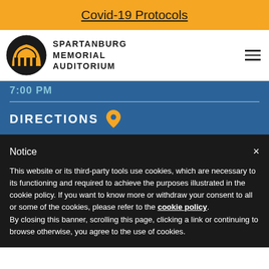Covid-19 Protocols
[Figure (logo): Spartanburg Memorial Auditorium logo with building icon and text]
7:00 PM
DIRECTIONS
Notice
This website or its third-party tools use cookies, which are necessary to its functioning and required to achieve the purposes illustrated in the cookie policy. If you want to know more or withdraw your consent to all or some of the cookies, please refer to the cookie policy. By closing this banner, scrolling this page, clicking a link or continuing to browse otherwise, you agree to the use of cookies.